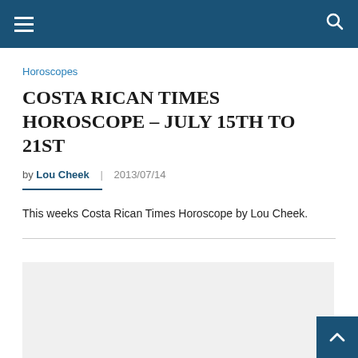Navigation bar with hamburger menu and search icon
Horoscopes
COSTA RICAN TIMES HOROSCOPE – JULY 15TH TO 21ST
by Lou Cheek | 2013/07/14
This weeks Costa Rican Times Horoscope by Lou Cheek.
[Figure (other): Light gray advertisement placeholder box]